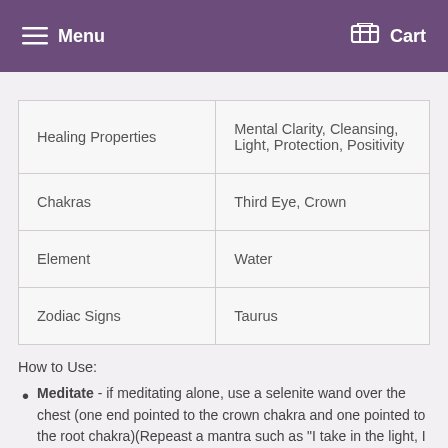Menu  Cart
| Healing Properties | Mental Clarity, Cleansing, Light, Protection, Positivity |
| Chakras | Third Eye, Crown |
| Element | Water |
| Zodiac Signs | Taurus |
How to Use:
Meditate - if meditating alone, use a selenite wand over the chest (one end pointed to the crown chakra and one pointed to the root chakra)(Repeast a mantra such as "I take in the light, I am the light")